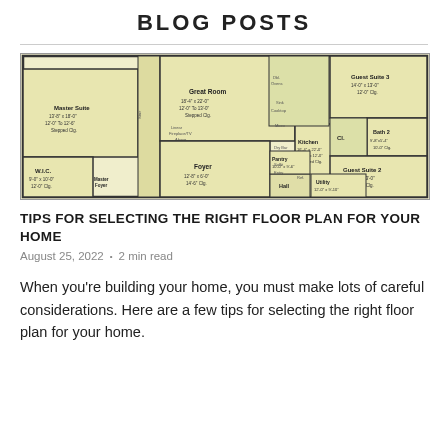BLOG POSTS
[Figure (engineering-diagram): Architectural floor plan showing Master Suite, Great Room, Kitchen, Foyer, WLC, Guest Suite 2, Guest Suite 3, Bath 2, Hall, Pantry, and Utility rooms with dimensions.]
TIPS FOR SELECTING THE RIGHT FLOOR PLAN FOR YOUR HOME
August 25, 2022  •  2 min read
When you're building your home, you must make lots of careful considerations. Here are a few tips for selecting the right floor plan for your home.